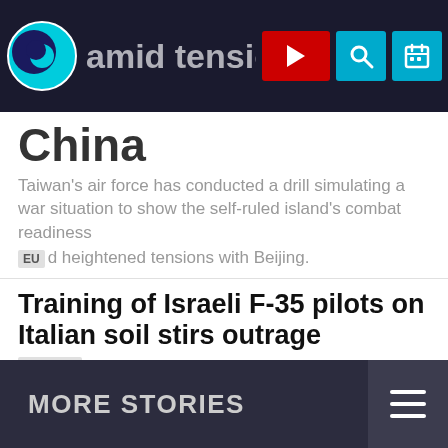amid tensions [logo] [play] [search] [calendar]
China
Taiwan's air force has conducted a drill simulating a war situation to show the self-ruled island's combat readiness
EU d heightened tensions with Beijing.
Training of Israeli F-35 pilots on Italian soil stirs outrage
Mexico
Six killed in Mexican air force plane accident in Veracruz
MORE STORIES